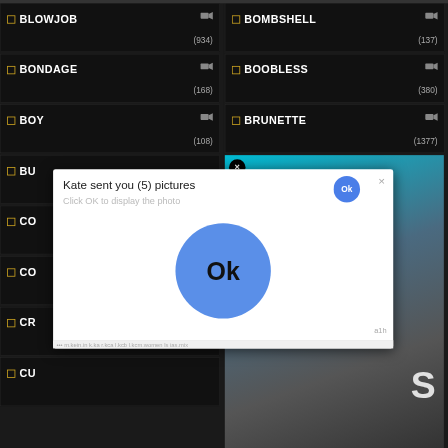[Figure (screenshot): Dark-themed category grid showing adult content category tags with checkboxes, video camera icons, and counts. Categories visible: BLOWJOB (934), BOMBSHELL (137), BONDAGE (168), BOOBLESS (380), BOY (108), BRUNETTE (1377), BU..., CO..., CO..., CR..., CU... A popup dialog overlays the grid: 'Kate sent you (5) pictures / Click OK to display the photo' with a large blue Ok button and small Ok button. To the right is a partial image. A URL/scrollbar is at the bottom of the popup.]